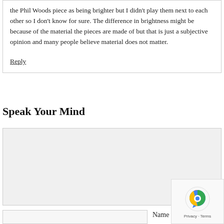the Phil Woods piece as being brighter but I didn't play them next to each other so I don't know for sure. The difference in brightness might be because of the material the pieces are made of but that is just a subjective opinion and many people believe material does not matter.
Reply
Speak Your Mind
(comment textarea area)
Name *